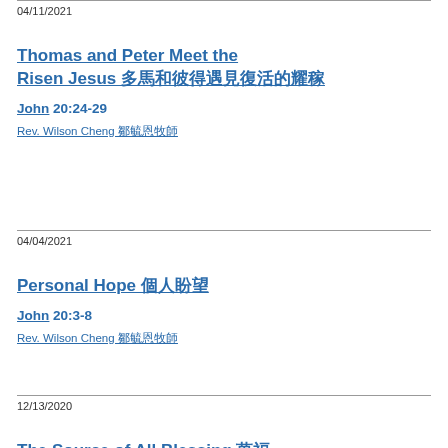04/11/2021
Thomas and Peter Meet the Risen Jesus 多馬和彼得遇見復活的耶穌
John 20:24-29
Rev. Wilson Cheng 鄭毓恩牧師
04/04/2021
Personal Hope 個人盼望
John 20:3-8
Rev. Wilson Cheng 鄭毓恩牧師
12/13/2020
The Source of All Blessing 萬福